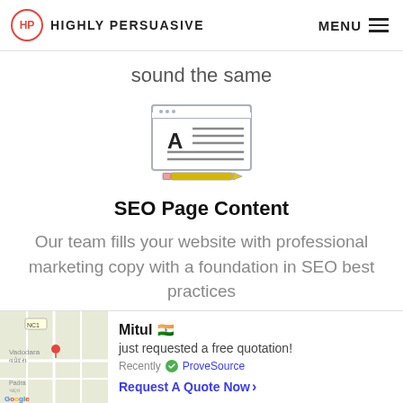HP HIGHLY PERSUASIVE | MENU
sound the same
[Figure (illustration): Icon of a browser/document window with letter A and horizontal text lines, with a pencil underneath, representing SEO page content writing]
SEO Page Content
Our team fills your website with professional marketing copy with a foundation in SEO best practices
Mitul 🇮🇳 just requested a free quotation! Recently ✅ ProveSource Request A Quote Now >